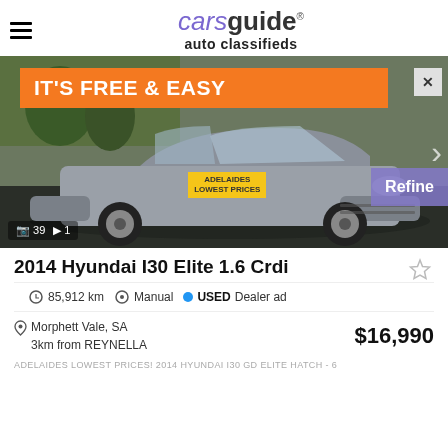carsguide auto classifieds
[Figure (photo): Silver Hyundai i30 hatchback car photo with orange banner ad 'IT'S FREE & EASY', Refine button, and photo counter showing 39 photos and 1 video]
2014 Hyundai I30 Elite 1.6 Crdi
85,912 km   Manual   USED Dealer ad
Morphett Vale, SA
3km from REYNELLA
$16,990
ADELAIDES LOWEST PRICES! 2014 HYUNDAI i30 GD ELITE hatch - 6